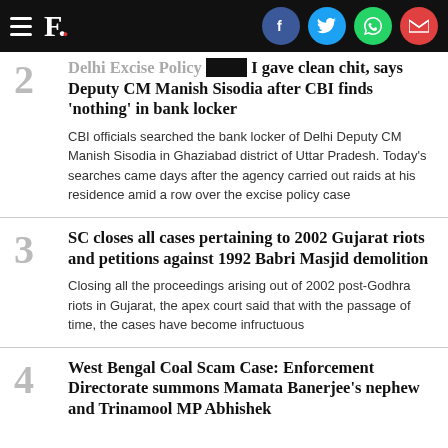F. [with social icons: Facebook, Twitter, WhatsApp, Email]
2 Delhi Excise Policy case: I gave clean chit, says Deputy CM Manish Sisodia after CBI finds 'nothing' in bank locker — CBI officials searched the bank locker of Delhi Deputy CM Manish Sisodia in Ghaziabad district of Uttar Pradesh. Today's searches came days after the agency carried out raids at his residence amid a row over the excise policy case
3 SC closes all cases pertaining to 2002 Gujarat riots and petitions against 1992 Babri Masjid demolition — Closing all the proceedings arising out of 2002 post-Godhra riots in Gujarat, the apex court said that with the passage of time, the cases have become infructuous
4 West Bengal Coal Scam Case: Enforcement Directorate summons Mamata Banerjee's nephew and Trinamool MP Abhishek